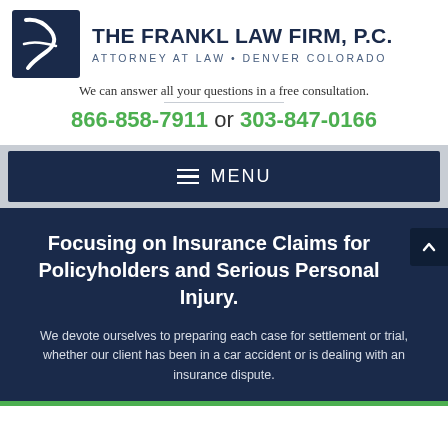[Figure (logo): The Frankl Law Firm P.C. logo — navy blue square with white stylized letter F]
THE FRANKL LAW FIRM, P.C.
ATTORNEY AT LAW • DENVER COLORADO
We can answer all your questions in a free consultation.
866-858-7911 or 303-847-0166
MENU
Focusing on Insurance Claims for Policyholders and Serious Personal Injury.
We devote ourselves to preparing each case for settlement or trial, whether our client has been in a car accident or is dealing with an insurance dispute.